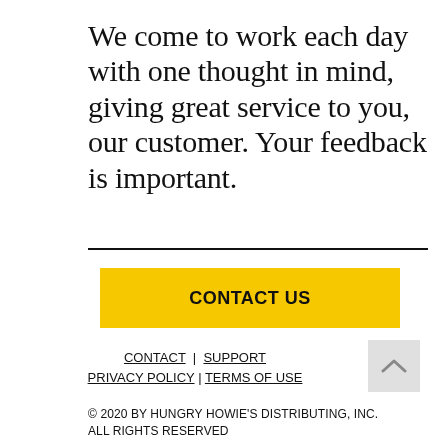We come to work each day with one thought in mind, giving great service to you, our customer. Your feedback is important.
[Figure (other): Yellow 'CONTACT US' button]
CONTACT | SUPPORT
PRIVACY POLICY | TERMS OF USE
© 2020 BY HUNGRY HOWIE'S DISTRIBUTING, INC. ALL RIGHTS RESERVED